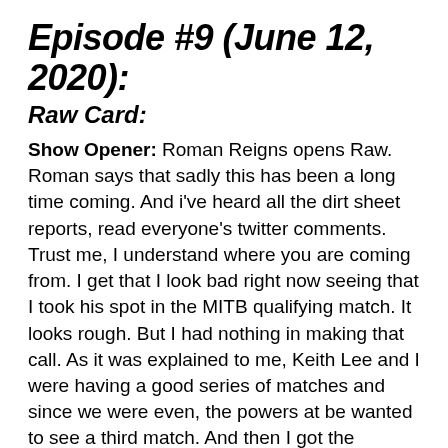Episode #9 (June 12, 2020):
Raw Card:
Show Opener: Roman Reigns opens Raw. Roman says that sadly this has been a long time coming. And i've heard all the dirt sheet reports, read everyone's twitter comments. Trust me, I understand where you are coming from. I get that I look bad right now seeing that I took his spot in the MITB qualifying match. It looks rough. But I had nothing in making that call. As it was explained to me, Keith Lee and I were having a good series of matches and since we were even, the powers at be wanted to see a third match. And then I got the backlash, ironically